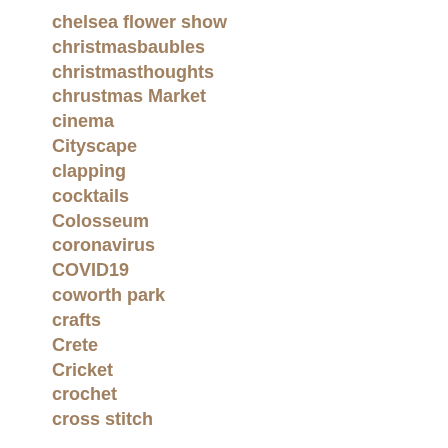chelsea flower show
christmasbaubles
christmasthoughts
chrustmas Market
cinema
Cityscape
clapping
cocktails
Colosseum
coronavirus
COVID19
coworth park
crafts
Crete
Cricket
crochet
cross stitch